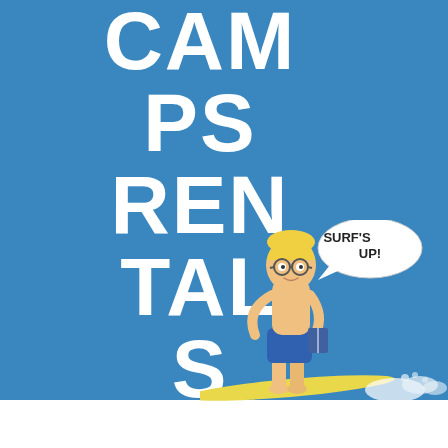CAMPS RENTALS SCHOOL 8
[Figure (illustration): Cartoon character of a nerdy surfer with glasses, blonde hair, wearing blue shorts, standing on a yellow surfboard with water spray, with a speech bubble saying SURF'S UP!]